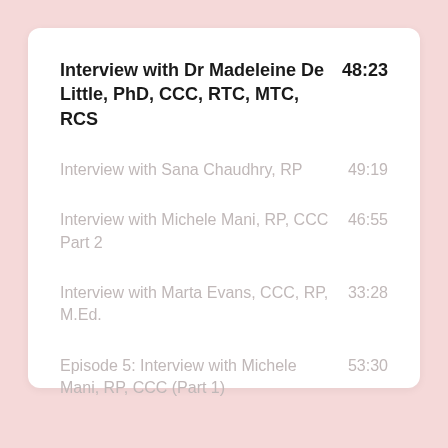Interview with Dr Madeleine De Little, PhD, CCC, RTC, MTC, RCS
Interview with Sana Chaudhry, RP
Interview with Michele Mani, RP, CCC Part 2
Interview with Marta Evans, CCC, RP, M.Ed.
Episode 5: Interview with Michele Mani, RP, CCC (Part 1)